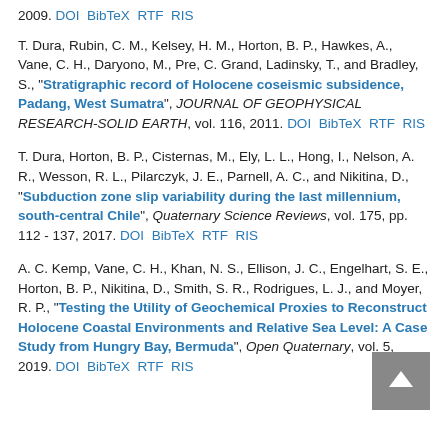2009. DOI BibTeX RTF RIS
T. Dura, Rubin, C. M., Kelsey, H. M., Horton, B. P., Hawkes, A., Vane, C. H., Daryono, M., Pre, C. Grand, Ladinsky, T., and Bradley, S., "Stratigraphic record of Holocene coseismic subsidence, Padang, West Sumatra", JOURNAL OF GEOPHYSICAL RESEARCH-SOLID EARTH, vol. 116, 2011. DOI BibTeX RTF RIS
T. Dura, Horton, B. P., Cisternas, M., Ely, L. L., Hong, I., Nelson, A. R., Wesson, R. L., Pilarczyk, J. E., Parnell, A. C., and Nikitina, D., "Subduction zone slip variability during the last millennium, south-central Chile", Quaternary Science Reviews, vol. 175, pp. 112 - 137, 2017. DOI BibTeX RTF RIS
A. C. Kemp, Vane, C. H., Khan, N. S., Ellison, J. C., Engelhart, S. E., Horton, B. P., Nikitina, D., Smith, S. R., Rodrigues, L. J., and Moyer, R. P., "Testing the Utility of Geochemical Proxies to Reconstruct Holocene Coastal Environments and Relative Sea Level: A Case Study from Hungry Bay, Bermuda", Open Quaternary, vol. 5, 2019. DOI BibTeX RTF RIS